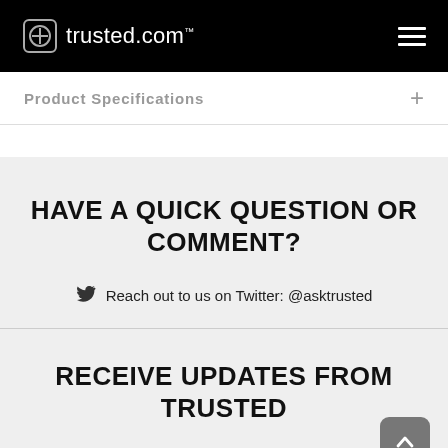trusted.com
Product Specifications
HAVE A QUICK QUESTION OR COMMENT?
Reach out to us on Twitter: @asktrusted
RECEIVE UPDATES FROM TRUSTED